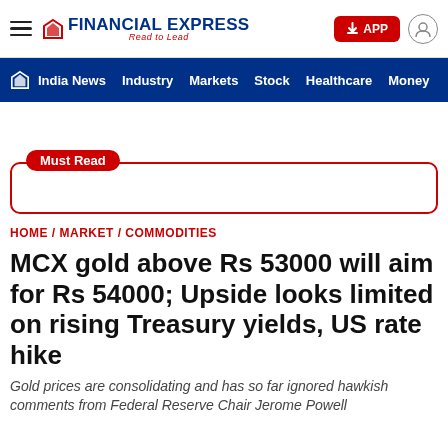FINANCIAL EXPRESS — Read to Lead | APP | User icon
India News | Industry | Markets | Stock | Healthcare | Money
[Figure (other): Must Read promotional box with red border and label]
HOME / MARKET / COMMODITIES
MCX gold above Rs 53000 will aim for Rs 54000; Upside looks limited on rising Treasury yields, US rate hike
Gold prices are consolidating and has so far ignored hawkish comments from Federal Reserve Chair Jerome Powell